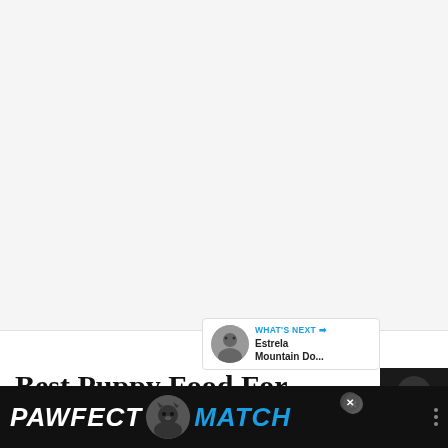[Figure (other): Large white/light grey blank content area at top of webpage]
[Figure (other): Blue circular heart/like button with count of 1, and share button below]
[Figure (other): What's Next panel showing Estrela Mountain Do... with circular thumbnail of a dog]
Best Puppy Food For Mountain Bulldogs
[Figure (other): Dark/black partial dog image in bottom-right corner]
[Figure (other): PAWFECT MATCH advertisement banner in black with blue/white text and cat icon, with close X button]